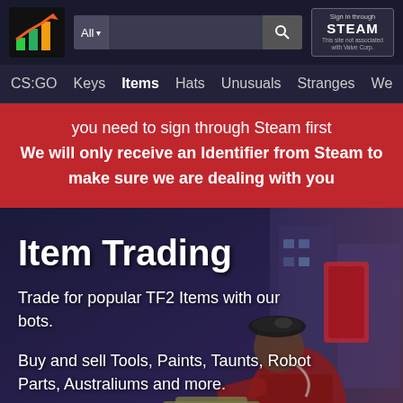[Figure (logo): Bar chart logo with orange upward arrow and green/orange bars]
All ▾  [search bar]  🔍  Sign in through STEAM This site not associated with Valve Corp.
CS:GO  Keys  Items  Hats  Unusuals  Stranges  We
you need to sign through Steam first
We will only receive an Identifier from Steam to make sure we are dealing with you
Item Trading
Trade for popular TF2 Items with our bots.
Buy and sell Tools, Paints, Taunts, Robot Parts, Australiums and more.
[Figure (illustration): TF2 character (Medic) wearing red outfit holding a weapon, dark purple/blue urban background]